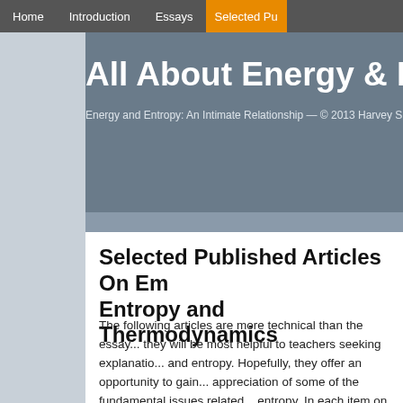Home | Introduction | Essays | Selected Pu...
All About Energy & Entro...
Energy and Entropy: An Intimate Relationship — © 2013 Harvey S. Leff
Selected Published Articles On Em... Entropy and Thermodynamics
The following articles are more technical than the essay... they will be most helpful to teachers seeking explanatio... and entropy. Hopefully, they offer an opportunity to gain... appreciation of some of the fundamental issues related... entropy. In each item on the list below, I show the articl... and/or other descriptive paragraph.